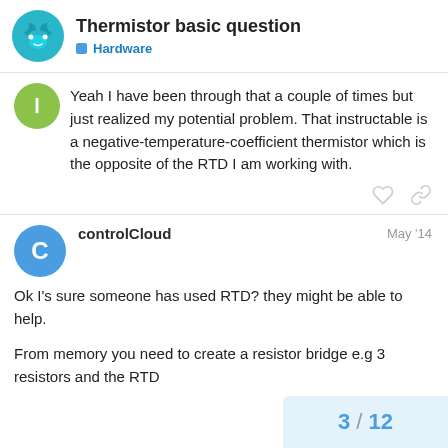Thermistor basic question — Hardware
Yeah I have been through that a couple of times but just realized my potential problem. That instructable is a negative-temperature-coefficient thermistor which is the opposite of the RTD I am working with.
controlCloud — May '14
Ok I's sure someone has used RTD? they might be able to help.
From memory you need to create a resistor bridge e.g 3 resistors and the RTD
3 / 12